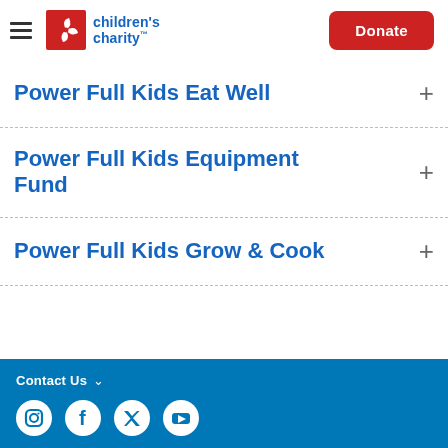children's charity — Donate
Power Full Kids Eat Well
Power Full Kids Equipment Fund
Power Full Kids Grow & Cook
Contact Us — social icons: Instagram, Facebook, Twitter, YouTube